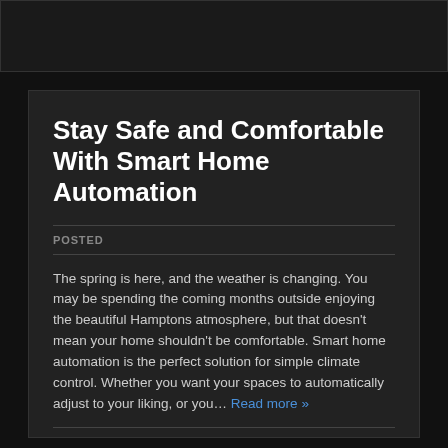Stay Safe and Comfortable With Smart Home Automation
POSTED
The spring is here, and the weather is changing. You may be spending the coming months outside enjoying the beautiful Hamptons atmosphere, but that doesn't mean your home shouldn't be comfortable. Smart home automation is the perfect solution for simple climate control. Whether you want your spaces to automatically adjust to your liking, or you... Read more »